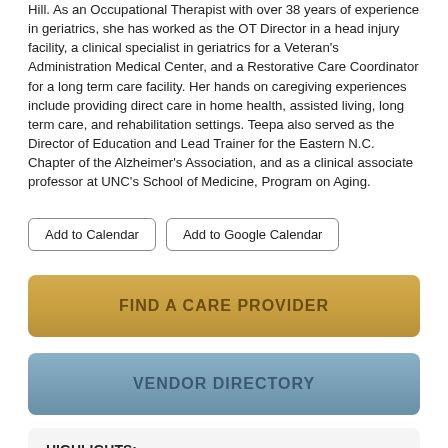Hill.  As an Occupational Therapist with over 38 years of experience in geriatrics, she has worked as the OT Director in a head injury facility, a clinical specialist in geriatrics for a Veteran's Administration Medical Center, and a Restorative Care Coordinator for a long term care facility.  Her hands on caregiving experiences include providing direct care in home health, assisted living, long term care, and rehabilitation settings. Teepa also served as the Director of Education and Lead Trainer for the Eastern N.C. Chapter of the Alzheimer's Association, and as a clinical associate professor at UNC's School of Medicine, Program on Aging.
Add to Calendar
Add to Google Calendar
FIND A CARE PROVIDER
VENDOR DIRECTORY
HIGHLIGHTS:
Join the AHCA/NCAL Quality Initiative